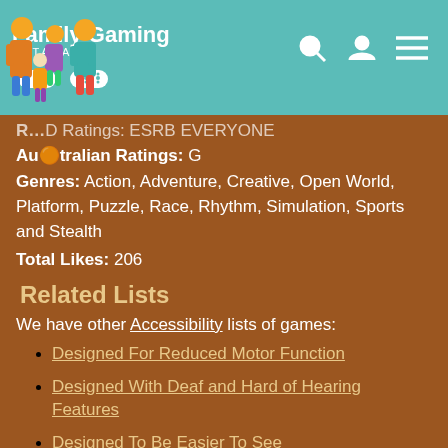Family Gaming DATABASE
ESRB Ratings: ESRB EVERYONE
Australian Ratings: G
Genres: Action, Adventure, Creative, Open World, Platform, Puzzle, Race, Rhythm, Simulation, Sports and Stealth
Total Likes: 206
Related Lists
We have other Accessibility lists of games:
Designed For Reduced Motor Function
Designed With Deaf and Hard of Hearing Features
Designed To Be Easier To See
Designed For Easier Play
Designed For Easier Navigation